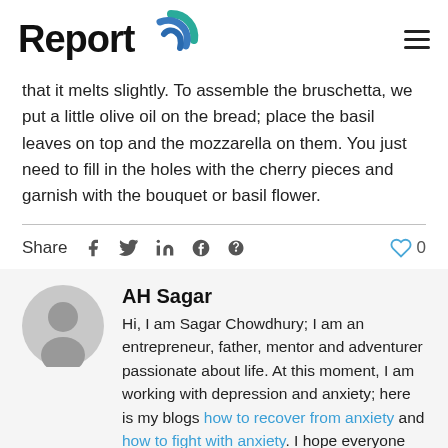Report
that it melts slightly. To assemble the bruschetta, we put a little olive oil on the bread; place the basil leaves on top and the mozzarella on them. You just need to fill in the holes with the cherry pieces and garnish with the bouquet or basil flower.
Share  f  𝕏  in  ℗  0
AH Sagar
Hi, I am Sagar Chowdhury; I am an entrepreneur, father, mentor and adventurer passionate about life. At this moment, I am working with depression and anxiety; here is my blogs how to recover from anxiety and how to fight with anxiety. I hope everyone will like my blogs.